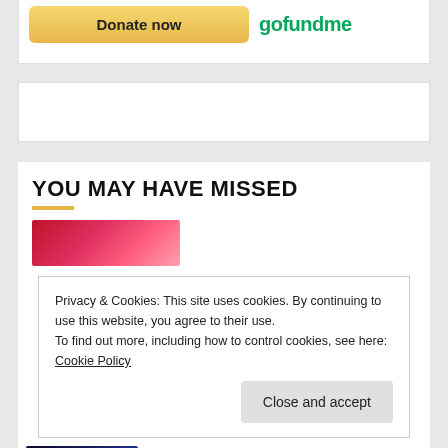[Figure (screenshot): Donate now button with GoFundMe logo]
[Figure (screenshot): Advertisement placeholder box]
YOU MAY HAVE MISSED
[Figure (photo): Red-toned thumbnail image]
Privacy & Cookies: This site uses cookies. By continuing to use this website, you agree to their use.
To find out more, including how to control cookies, see here: Cookie Policy
Close and accept
[Figure (photo): Dark blue-toned thumbnail image for Abba Platinum at Girne]
Abba Platinum at Girne